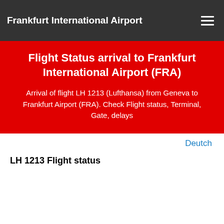Frankfurt International Airport
Flight Status arrival to Frankfurt International Airport (FRA)
Arrival of flight LH 1213 (Lufthansa) from Geneva to Frankfurt Airport (FRA). Check Flight status, Terminal, Gate, delays
Deutch
LH 1213 Flight status